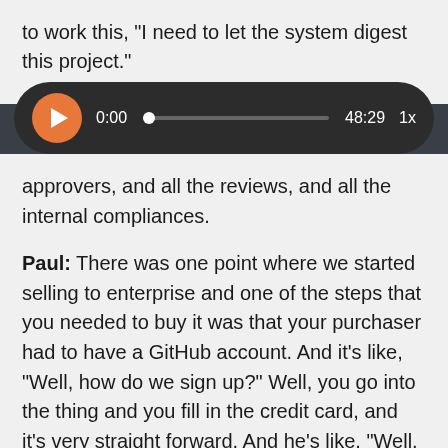to work this, "I need to let the system digest this project."
[Figure (other): Audio player UI element showing play button (orange circle with triangle), current time 0:00, progress bar with dot, total time 48:29, and playback speed 1x, on a dark rounded rectangle background.]
approvers, and all the reviews, and all the internal compliances.
Paul: There was one point where we started selling to enterprise and one of the steps that you needed to buy it was that your purchaser had to have a GitHub account. And it's like, "Well, how do we sign up?" Well, you go into the thing and you fill in the credit card, and it's very straight forward. And he's like, "Well, how do we get in?" Like they need a GitHub account, we're like, "Oh."